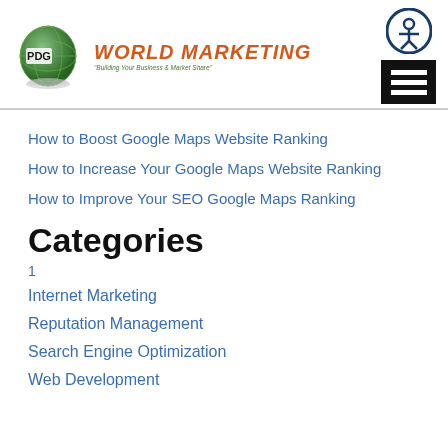[Figure (logo): PDG World Marketing logo with globe graphic and text]
How to Boost Google Maps Website Ranking
How to Increase Your Google Maps Website Ranking
How to Improve Your SEO Google Maps Ranking
Categories
1
Internet Marketing
Reputation Management
Search Engine Optimization
Web Development